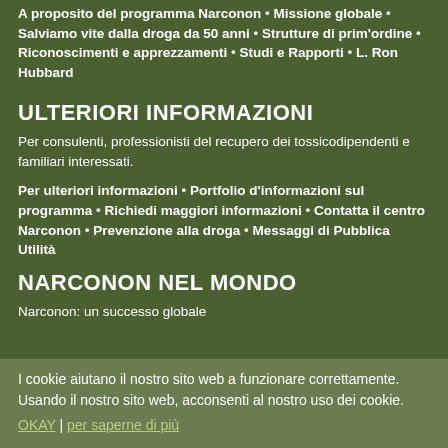A proposito del programma Narconon • Missione globale • Salviamo vite dalla droga da 50 anni • Strutture di prim'ordine • Riconoscimenti e apprezzamenti • Studi e Rapporti • L. Ron Hubbard
ULTERIORI INFORMAZIONI
Per consulenti, professionisti del recupero dei tossicodipendenti e familiari interessati.
Per ulteriori informazioni • Portfolio d'informazioni sul programma • Richiedi maggiori informazioni • Contatta il centro Narconon • Prevenzione alla droga • Messaggi di Pubblica Utilità
NARCONON NEL MONDO
Narconon: un successo globale
I cookie aiutano il nostro sito web a funzionare correttamente. Usando il nostro sito web, acconsenti al nostro uso dei cookie.
OKAY | per saperne di più